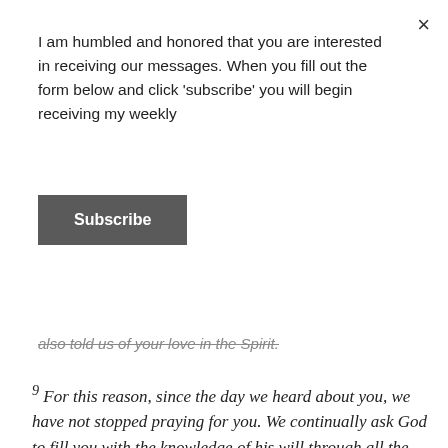×
I am humbled and honored that you are interested in receiving our messages. When you fill out the form below and click 'subscribe' you will begin receiving my weekly
Subscribe
also told us of your love in the Spirit.
9 For this reason, since the day we heard about you, we have not stopped praying for you. We continually ask God to fill you with the knowledge of his will through all the wisdom and understanding that the Spirit gives, 10 so that you may live a life worthy of the Lord and please him in every way: bearing fruit in every good work, growing in the knowledge of God, 11 being strengthened with all power according to his glorious might so that you may have great